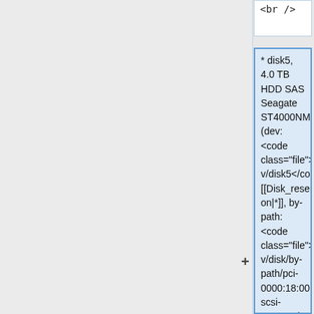<br />
* disk5, 4.0&nbsp;TB HDD SAS Seagate ST4000NM0295 (dev: <code class="file">/dev/disk5</code> [[Disk_reservation|*]], by-path: <code class="file">/dev/disk/by-path/pci-0000:18:00.0-scsi-0:0:5:0</code>) [[Disk_reservation|(reservable)]] <br/>